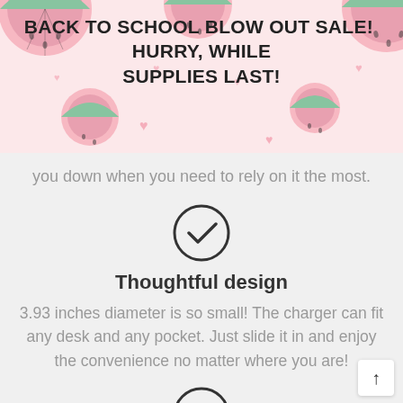BACK TO SCHOOL BLOW OUT SALE!  HURRY, WHILE SUPPLIES LAST!
you down when you need to rely on it the most.
[Figure (illustration): Circle with a checkmark icon]
Thoughtful design
3.93 inches diameter is so small! The charger can fit any desk and any pocket. Just slide it in and enjoy the convenience no matter where you are!
[Figure (illustration): Circle with a checkmark icon]
Superior technologies
An improved coil makes the charging smoother. Forget